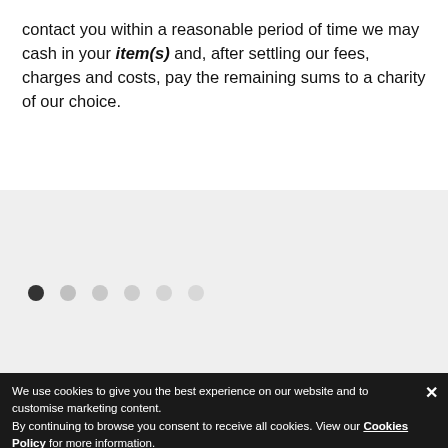contact you within a reasonable period of time we may cash in your item(s) and, after settling our fees, charges and costs, pay the remaining sums to a charity of our choice.
[Figure (other): Carousel navigation dots: one filled dark circle followed by five light grey circles on a light grey background panel]
We use cookies to give you the best experience on our website and to customise marketing content. By continuing to browse you consent to receive all cookies. View our Cookies Policy for more information.